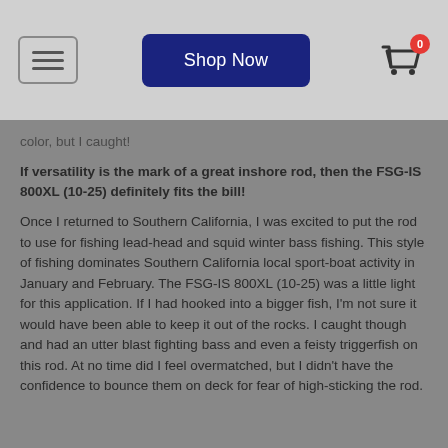Shop Now | Cart 0
color, but I caught!
If versatility is the mark of a great inshore rod, then the FSG-IS 800XL (10-25) definitely fits the bill!
Once I returned to Southern California, I was excited to put the rod to use for fishing lead-head and squid winter bass fishing. This style of fishing dominates Southern California local sport-boat activity in January and February. The FSG-IS 800XL (10-25) was a little light for this application. If I had hooked into a bigger fish, I'm not sure it would have been able to keep it out of the rocks. I caught though and had an utter blast fighting bass and even a feisty triggerfish on this rod. At no time did I feel overmatched, but I didn't have the confidence to bounce them on deck for fear of high-sticking the rod.